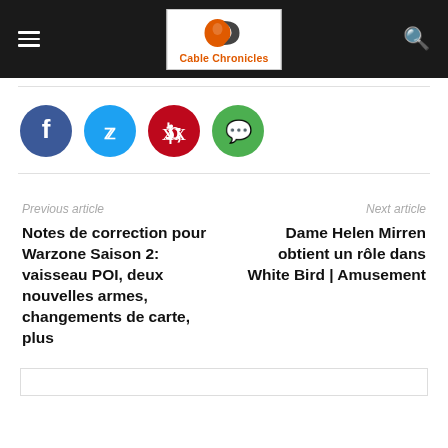Cable Chronicles
[Figure (logo): Cable Chronicles logo with orange and grey cable icon and orange text 'Cable Chronicles']
Social share buttons: Facebook, Twitter, Pinterest, WhatsApp
Previous article
Notes de correction pour Warzone Saison 2: vaisseau POI, deux nouvelles armes, changements de carte, plus
Next article
Dame Helen Mirren obtient un rôle dans White Bird | Amusement